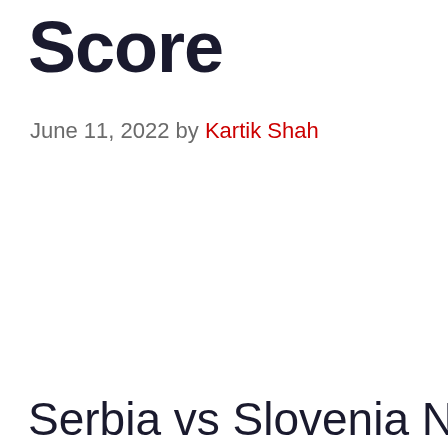Score
June 11, 2022 by Kartik Shah
Serbia vs Slovenia Nations